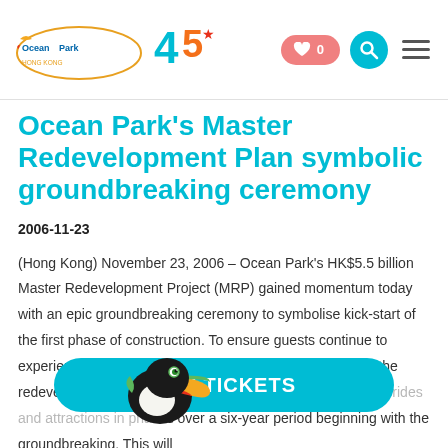Ocean Park logo and 45th anniversary logo navigation bar with wishlist button showing 0, search button, and menu button
Ocean Park's Master Redevelopment Plan symbolic groundbreaking ceremony
2006-11-23
(Hong Kong) November 23, 2006 – Ocean Park's HK$5.5 billion Master Redevelopment Project (MRP) gained momentum today with an epic groundbreaking ceremony to symbolise kick-start of the first phase of construction. To ensure guests continue to experience the very best in edutainment value throughout the redevelopment period, the Park will gra...ses over a six-year period beginning with the groundbreaking. This will
[Figure (illustration): Buy Tickets button (teal/cyan pill shape) with toucan bird mascot overlapping it on the left side]